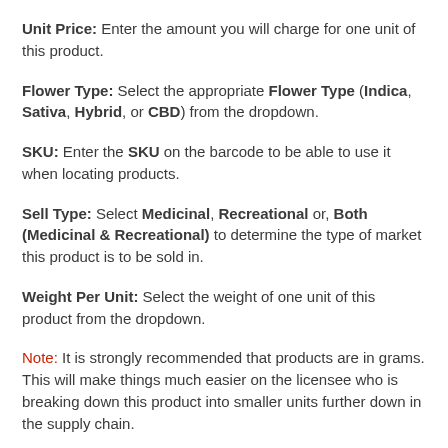Unit Price: Enter the amount you will charge for one unit of this product.
Flower Type: Select the appropriate Flower Type (Indica, Sativa, Hybrid, or CBD) from the dropdown.
SKU: Enter the SKU on the barcode to be able to use it when locating products.
Sell Type: Select Medicinal, Recreational or, Both (Medicinal & Recreational) to determine the type of market this product is to be sold in.
Weight Per Unit: Select the weight of one unit of this product from the dropdown.
Note: It is strongly recommended that products are in grams. This will make things much easier on the licensee who is breaking down this product into smaller units further down in the supply chain.